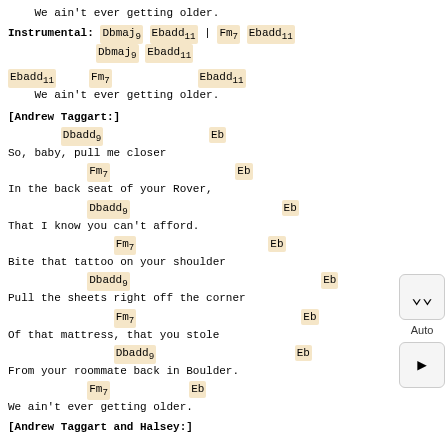We ain't ever getting older.
Instrumental: Dbmaj9 Ebadd11 | Fm7 Ebadd11
             Dbmaj9 Ebadd11
Ebadd11      Fm7                  Ebadd11
    We ain't ever getting older.
[Andrew Taggart:]
Dbadd9                   Eb
So, baby, pull me closer
Fm7                       Eb
In the back seat of your Rover,
Dbadd9                         Eb
That I know you can't afford.
Fm7                    Eb
Bite that tattoo on your shoulder
Dbadd9                              Eb
Pull the sheets right off the corner
Fm7                          Eb
Of that mattress, that you stole
Dbadd9                   Eb
From your roommate back in Boulder.
Fm7           Eb
We ain't ever getting older.
[Andrew Taggart and Halsey:]